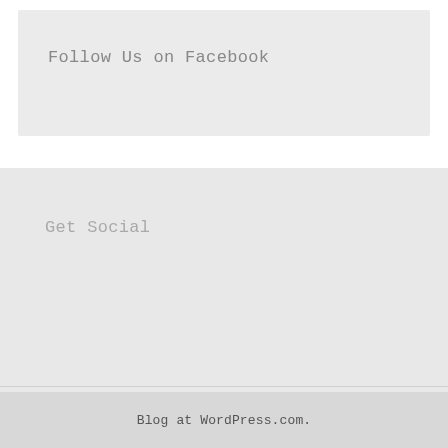Follow Us on Facebook
Get Social
Blog at WordPress.com.